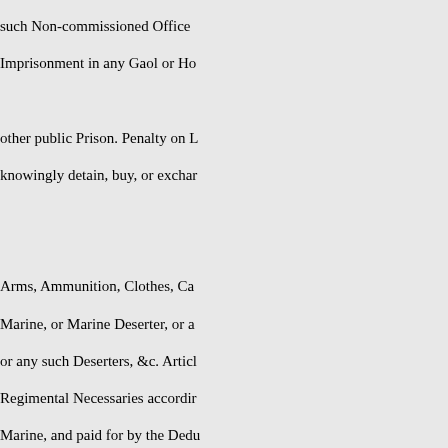such Non-commissioned Officers, Imprisonment in any Gaol or Ho other public Prison. Penalty on L knowingly detain, buy, or exchar Arms, Ammunition, Clothes, Ca Marine, or Marine Deserter, or a or any such Deserters, &c. Articl Regimental Necessaries accordir Marine, and paid for by the Dedu every such Person so offending s Conviction by the Oath of One o Majesty's Justices of the Peace, t Justice or Justices of the Peace, b thereof to be paid to the Informer Paymaster of the Royal Marine F credit the same in his Public Acc Marine, the Moiety of the said Pe as a Fund for the Payment of the Penalties, in Cases in which no s Costs can be levied by Distress a made to the Secretary of the Adm imposed ; and in case any such C